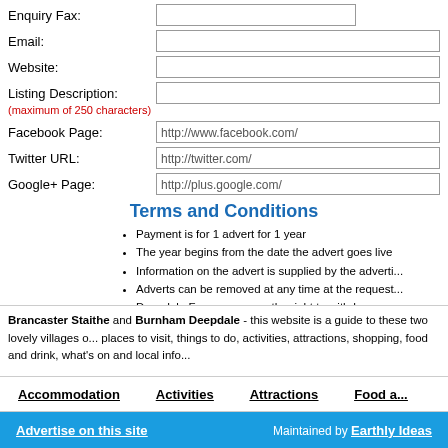Enquiry Fax:
Email:
Website:
Listing Description: (maximum of 250 characters)
Facebook Page: http://www.facebook.com/
Twitter URL: http://twitter.com/
Google+ Page: http://plus.google.com/
Terms and Conditions
Payment is for 1 advert for 1 year
The year begins from the date the advert goes live
Information on the advert is supplied by the adverti...
Adverts can be removed at any time at the request...
Deepdale Farms reserves the right to withdraw any...
Deepdale Farms owns the rights of www.burnham...
Problems, questions or suggestions should be dire...
Deepdale Farms is registered for VAT - No: GB324...
Brancaster Staithe and Burnham Deepdale - this website is a guide to these two lovely villages o... places to visit, things to do, activities, attractions, shopping, food and drink, what's on and local info...
Accommodation | Activities | Attractions | Food a... | Advertise on this site | Maintained by Earthly Ideas